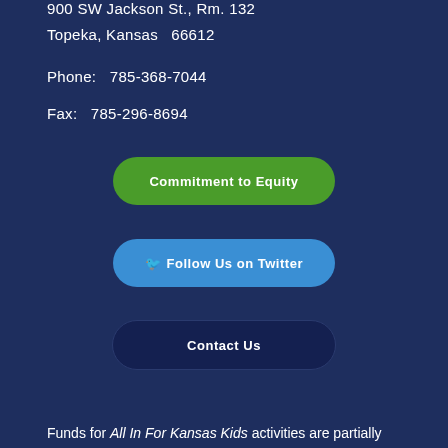900 SW Jackson St., Rm. 132
Topeka, Kansas  66612
Phone:  785-368-7044
Fax:  785-296-8694
Commitment to Equity
Follow Us on Twitter
Contact Us
Funds for All In For Kansas Kids activities are partially